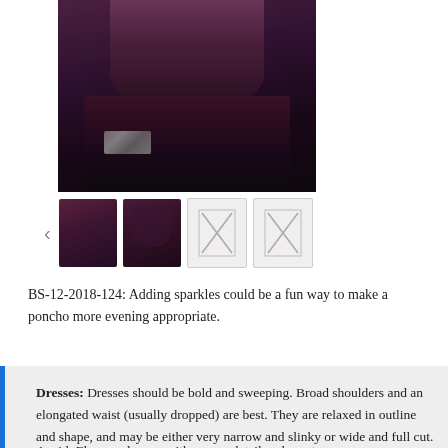[Figure (photo): Photo of a person wearing a dark maroon/purple poncho top with asymmetric hemline, holding a sparkly clutch purse]
[Figure (photo): Thumbnail row with left arrow navigation, two dark-colored garment thumbnails, and two outline/sketch thumbnails]
BS-12-2018-124: Adding sparkles could be a fun way to make a poncho more evening appropriate.
Dresses: Dresses should be bold and sweeping. Broad shoulders and an elongated waist (usually dropped) are best. They are relaxed in outline and shape, and may be either very narrow and slinky or wide and full cut. Shirring, draping, appliqué, etc., should be kept low and executed in bold, abstract patterns.
Avoid: Flouncy dresses with excess detail and ornate